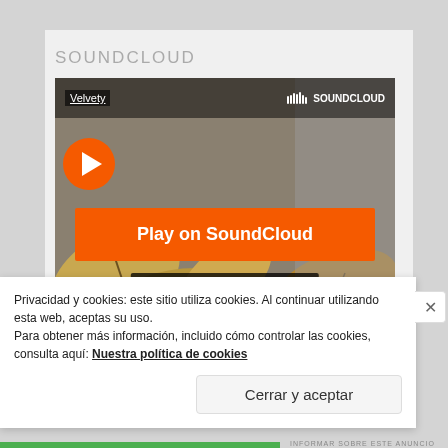SOUNDCLOUD
[Figure (screenshot): SoundCloud embedded player showing 'Play on SoundCloud' orange button and 'Listen in browser' button, with Velvety artist link and SoundCloud logo at top, autumn leaves background image]
Privacy policy   © 2020 Matinée Recordings
Privacidad y cookies: este sitio utiliza cookies. Al continuar utilizando esta web, aceptas su uso.
Para obtener más información, incluido cómo controlar las cookies, consulta aquí: Nuestra política de cookies
Cerrar y aceptar